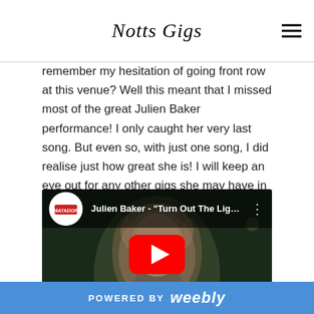Notts Gigs
remember my hesitation of going front row at this venue? Well this meant that I missed most of the great Julien Baker performance! I only caught her very last song. But even so, with just one song, I did realise just how great she is! I will keep an eye out for any other gigs she may have in town.
[Figure (screenshot): Embedded YouTube video thumbnail showing Julien Baker - "Turn Out The Ligh..." with a Matador Records logo, play button overlay, and person's face visible in the thumbnail background.]
POWERED BY weebly